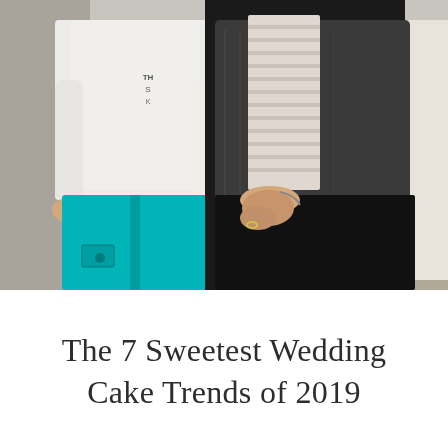[Figure (photo): Two people standing side by side indoors. The person on the left wears a white top with text and bright teal/turquoise scrub pants. The person on the right wears a striped long-sleeve shirt under a dark gray knit cardigan and black pants, with a ring visible on their hand.]
The 7 Sweetest Wedding Cake Trends of 2019